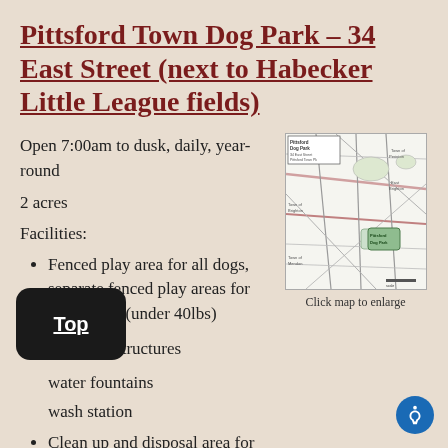Pittsford Town Dog Park – 34 East Street (next to Habecker Little League fields)
Open 7:00am to dusk, daily, year-round
2 acres
Facilities:
[Figure (map): Map showing location of Pittsford Dog Park at 34 East Street, Pittsford, Town of Pittsford]
Click map to enlarge
Fenced play area for all dogs, separate fenced play areas for small dogs (under 40lbs)
Dog play structures
water fountains
wash station
Clean up and disposal area for dog waste